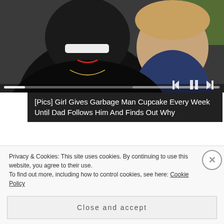[Figure (photo): Photo of a smiling man with beard and a young child, with media player controls and progress bar overlay at bottom]
[Pics] Girl Gives Garbage Man Cupcake Every Week Until Dad Follows Him And Finds Out Why
If you like it, please share it!
Privacy & Cookies: This site uses cookies. By continuing to use this website, you agree to their use.
To find out more, including how to control cookies, see here: Cookie Policy
Close and accept